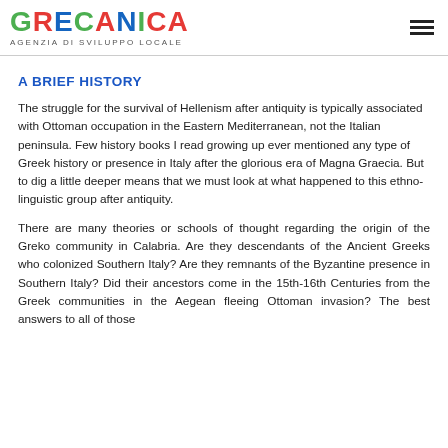GRECANICA AGENZIA DI SVILUPPO LOCALE
A BRIEF HISTORY
The struggle for the survival of Hellenism after antiquity is typically associated with Ottoman occupation in the Eastern Mediterranean, not the Italian peninsula. Few history books I read growing up ever mentioned any type of Greek history or presence in Italy after the glorious era of Magna Graecia. But to dig a little deeper means that we must look at what happened to this ethno-linguistic group after antiquity.
There are many theories or schools of thought regarding the origin of the Greko community in Calabria. Are they descendants of the Ancient Greeks who colonized Southern Italy? Are they remnants of the Byzantine presence in Southern Italy? Did their ancestors come in the 15th-16th Centuries from the Greek communities in the Aegean fleeing Ottoman invasion? The best answers to all of those